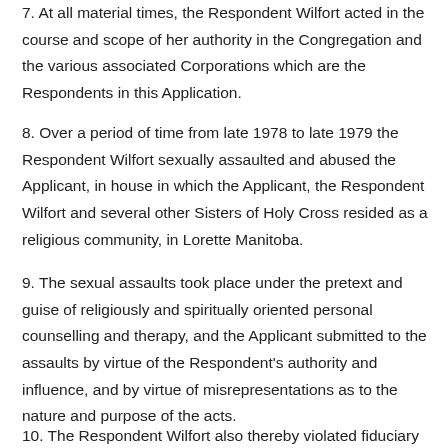7. At all material times, the Respondent Wilfort acted in the course and scope of her authority in the Congregation and the various associated Corporations which are the Respondents in this Application.
8. Over a period of time from late 1978 to late 1979 the Respondent Wilfort sexually assaulted and abused the Applicant, in house in which the Applicant, the Respondent Wilfort and several other Sisters of Holy Cross resided as a religious community, in Lorette Manitoba.
9. The sexual assaults took place under the pretext and guise of religiously and spiritually oriented personal counselling and therapy, and the Applicant submitted to the assaults by virtue of the Respondent's authority and influence, and by virtue of misrepresentations as to the nature and purpose of the acts.
10. The Respondent Wilfort also thereby violated fiduciary duties owed by her and the other Respondents to the Applicant.